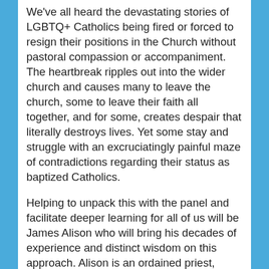We've all heard the devastating stories of LGBTQ+ Catholics being fired or forced to resign their positions in the Church without pastoral compassion or accompaniment. The heartbreak ripples out into the wider church and causes many to leave the church, some to leave their faith all together, and for some, creates despair that literally destroys lives. Yet some stay and struggle with an excruciatingly painful maze of contradictions regarding their status as baptized Catholics.
Helping to unpack this with the panel and facilitate deeper learning for all of us will be James Alison who will bring his decades of experience and distinct wisdom on this approach. Alison is an ordained priest, former member of the Dominican order; a scholar of Rene Girard; and a gay man helping us all work through the obstacles that official church teaching creates for LGBT people seeking authentic faith.
Grace Under Fire is presented through the partnership of New Ways Ministry, DignityUSA, Families with Dignity, and Christ Church Cranbrook. There is no cost to attend.